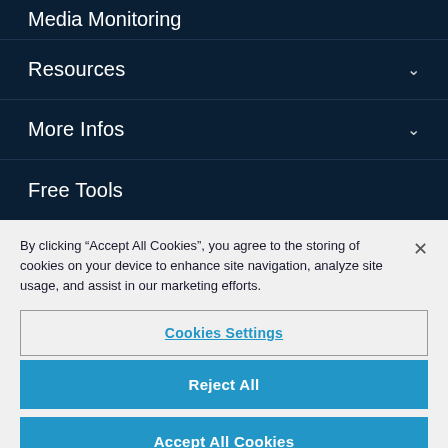Media Monitoring
Resources
More Infos
Free Tools
Email Signature Generator
By clicking “Accept All Cookies”, you agree to the storing of cookies on your device to enhance site navigation, analyze site usage, and assist in our marketing efforts.
Cookies Settings
Reject All
Accept All Cookies